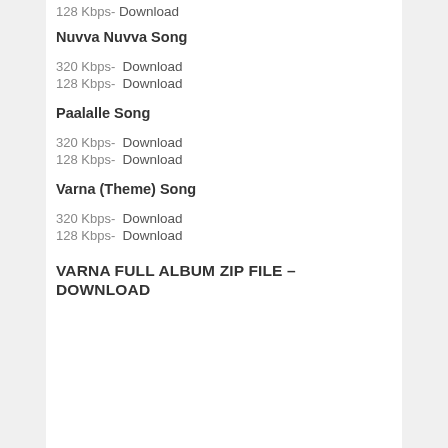128 Kbps- Download
Nuvva Nuvva Song
320 Kbps- Download
128 Kbps- Download
Paalalle Song
320 Kbps- Download
128 Kbps- Download
Varna (Theme) Song
320 Kbps- Download
128 Kbps- Download
VARNA FULL ALBUM ZIP FILE – DOWNLOAD